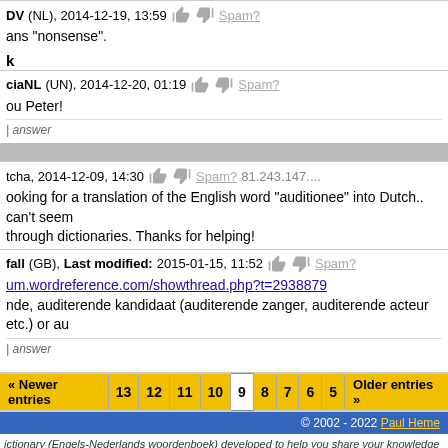DV (NL), 2014-12-19, 13:59  Spam?
ans "nonsense".
k
ciaNL (UN), 2014-12-20, 01:19  Spam?
ou Peter!
| answer
tcha, 2014-12-09, 14:30  Spam?  81.243.147....
ooking for a translation of the English word "auditionee" into Dutch.. can't seem through dictionaries. Thanks for helping!
fall (GB), Last modified: 2015-01-15, 11:52  Spam?
um.wordreference.com/showthread.php?t=2938879
nde, auditerende kandidaat (auditerende zanger, auditerende acteur etc.) or au
| answer
« Newer entries  13  12  11  10  9  8  7  6  5  Older entries »
© 2002 - 2022 Paul Heme
ictionary (Engels-Nederlands woordenboek) developed to help you share your knowledge wi or to single translations are very welcome! Questions and Answers